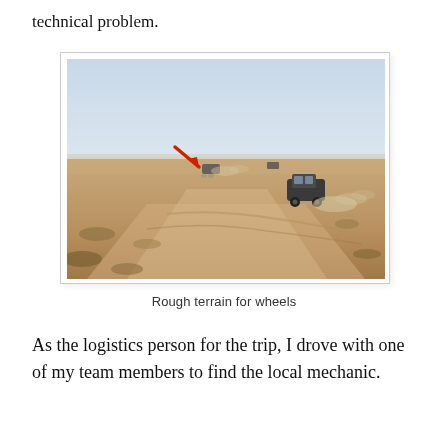technical problem.
[Figure (photo): Desert landscape with two off-road vehicles driving on sandy terrain. A red arrow points to one of the vehicles in the distance. Dust clouds are visible behind the vehicles.]
Rough terrain for wheels
As the logistics person for the trip, I drove with one of my team members to find the local mechanic.